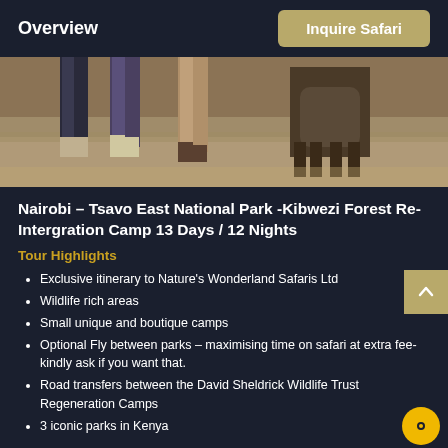Overview | Inquire Safari
[Figure (photo): Cropped photo showing legs and feet of people walking on dry grass/ground, part of a wildlife safari scene]
Nairobi – Tsavo East National Park -Kibwezi Forest Re-Intergration Camp 13 Days / 12 Nights
Tour Highlights
Exclusive itinerary to Nature's Wonderland Safaris Ltd
Wildlife rich areas
Small unique and boutique camps
Optional Fly between parks – maximising time on safari at extra fee-kindly ask if you want that.
Road transfers between the David Sheldrick Wildlife Trust Regeneration Camps
3 iconic parks in Kenya